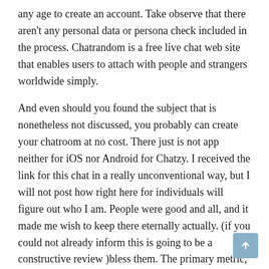any age to create an account. Take observe that there aren't any personal data or persona check included in the process. Chatrandom is a free live chat web site that enables users to attach with people and strangers worldwide simply.
And even should you found the subject that is nonetheless not discussed, you probably can create your chatroom at no cost. There just is not app neither for iOS nor Android for Chatzy. I received the link for this chat in a really unconventional way, but I will not post how right here for individuals will figure out who I am. People were good and all, and it made me wish to keep there eternally actually. (if you could not already inform this is going to be a constructive review )bless them. The primary metric, displaying how reliable is the business. Calculated utilizing proprietary score algorithm based on the AI, analyzing 25 totally different parameters.